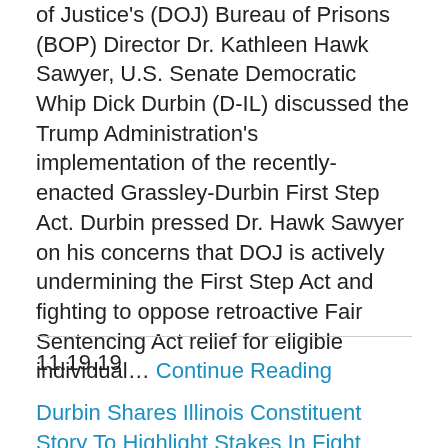of Justice's (DOJ) Bureau of Prisons (BOP) Director Dr. Kathleen Hawk Sawyer, U.S. Senate Democratic Whip Dick Durbin (D-IL) discussed the Trump Administration's implementation of the recently-enacted Grassley-Durbin First Step Act. Durbin pressed Dr. Hawk Sawyer on his concerns that DOJ is actively undermining the First Step Act and fighting to oppose retroactive Fair Sentencing Act relief for eligible individual… Continue Reading
11.19.19
Durbin Shares Illinois Constituent Story To Highlight Stakes In Fight Against Republicans'